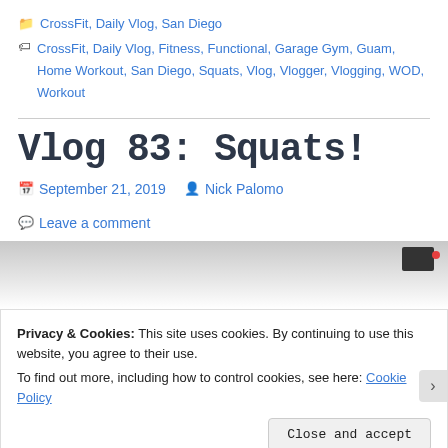CrossFit, Daily Vlog, San Diego
CrossFit, Daily Vlog, Fitness, Functional, Garage Gym, Guam, Home Workout, San Diego, Squats, Vlog, Vlogger, Vlogging, WOD, Workout
Vlog 83: Squats!
September 21, 2019  Nick Palomo  Leave a comment
[Figure (photo): Partial photo of a garage gym with camera/recording equipment visible at top]
Privacy & Cookies: This site uses cookies. By continuing to use this website, you agree to their use. To find out more, including how to control cookies, see here: Cookie Policy